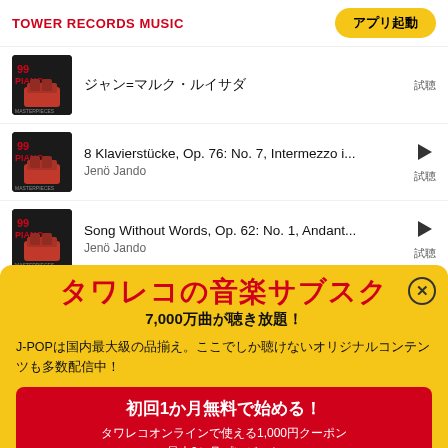TOWER RECORDS MUSIC | アプリ起動
ジャン=マルク・ルイサダ — 試聴
8 Klavierstücke, Op. 76: No. 7, Intermezzo i... | Jenö Jando — 試聴
Song Without Words, Op. 62: No. 1, Andant... | Jenö Jando — 試聴
[Figure (screenshot): Promotional overlay modal for Tower Records Music subscription service]
タワレコの音楽サブスク
7,000万曲が聴き放題！
J-POPは国内最大級の品揃え。ここでしか聴けないオリジナルコンテンツも多数配信中！
初回1か月無料で始める！
タワレコオンラインで使える1,000円クーポン
最大6か月プレゼント